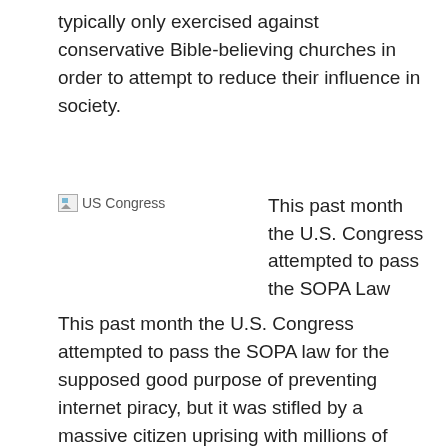typically only exercised against conservative Bible-believing churches in order to attempt to reduce their influence in society.
[Figure (photo): US Congress image (broken/placeholder)]
This past month the U.S. Congress attempted to pass the SOPA Law
This past month the U.S. Congress attempted to pass the SOPA law for the supposed good purpose of preventing internet piracy, but it was stifled by a massive citizen uprising with millions of emails and phone calls to representatives. The law would have allowed the government to force search engines to delete selected websites from the web altogether. As columnist L. Gordon Crovitz stated,